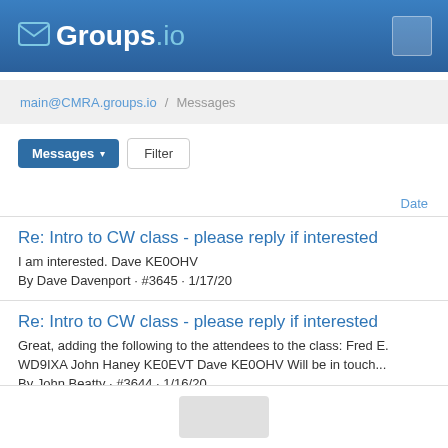Groups.io
main@CMRA.groups.io / Messages
Messages ▾   Filter
Date
Re: Intro to CW class - please reply if interested
I am interested. Dave KE0OHV
By Dave Davenport · #3645 · 1/17/20
Re: Intro to CW class - please reply if interested
Great, adding the following to the attendees to the class: Fred E. WD9IXA John Haney KE0EVT Dave KE0OHV Will be in touch...
By John Beatty · #3644 · 1/16/20